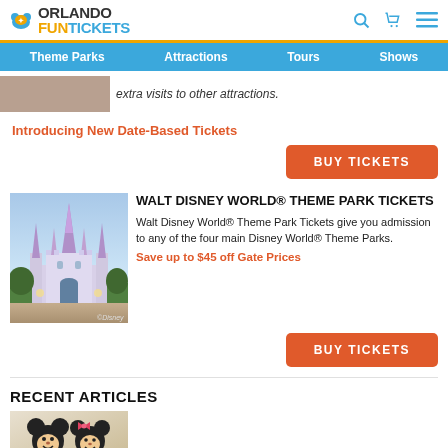ORLANDO FUN TICKETS — Theme Parks | Attractions | Tours | Shows
extra visits to other attractions.
Introducing New Date-Based Tickets
BUY TICKETS
WALT DISNEY WORLD® THEME PARK TICKETS
Walt Disney World® Theme Park Tickets give you admission to any of the four main Disney World® Theme Parks.
Save up to $45 off Gate Prices
BUY TICKETS
RECENT ARTICLES
[Figure (photo): Mickey Mouse and Minnie Mouse photo]